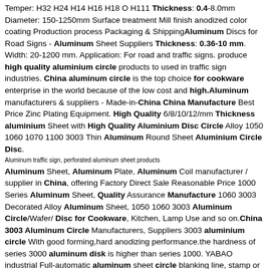Temper: H32 H24 H14 H16 H18 O H111 Thickness: 0.4-8.0mm Diameter: 150-1250mm Surface treatment Mill finish anodized color coating Production process Packaging & ShippingAluminum Discs for Road Signs - Aluminum Sheet Suppliers Thickness: 0.36-10 mm. Width: 20-1200 mm. Application: For road and traffic signs. produce high quality aluminium circle products to used in traffic sign industries. China aluminum circle is the top choice for cookware enterprise in the world because of the low cost and high.Aluminum manufacturers & suppliers - Made-in-China China Manufacture Best Price Zinc Plating Equipment. High Quality 6/8/10/12/mm Thickness aluminium Sheet with High Quality Aluminium Disc Circle Alloy 1050 1060 1070 1100 3003 Thin Aluminum Round Sheet Aluminium Circle Disc.
Aluminum traffic sign, perforated aluminum sheet products
Aluminum Sheet, Aluminum Plate, Aluminum Coil manufacturer / supplier in China, offering Factory Direct Sale Reasonable Price 1000 Series Aluminum Sheet, Quality Assurance Manufacture 1060 3003 Decorated Alloy Aluminum Sheet, 1050 1060 3003 Aluminum Circle/Wafer/ Disc for Cookware, Kitchen, Lamp Use and so on.China 3003 Aluminum Circle Manufacturers, Suppliers 3003 aluminium circle With good forming,hard anodizing performance.the hardness of series 3000 aluminum disk is higher than series 1000. YABAO industrial Full-automatic aluminum sheet circle blanking line, stamp or blank